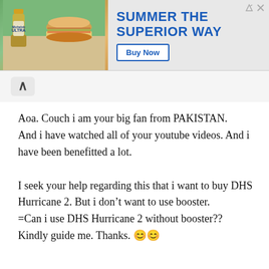[Figure (infographic): Advertisement banner showing beer bottle and burger image on the left, with text 'SUMMER THE SUPERIOR WAY' in bold blue letters and a 'Buy Now' button on the right. Close and navigate icons in top right corner.]
Aoa. Couch i am your big fan from PAKISTAN.
And i have watched all of your youtube videos. And i have been benefitted a lot.

I seek your help regarding this that i want to buy DHS Hurricane 2. But i don't want to use booster.
=Can i use DHS Hurricane 2 without booster??
Kindly guide me. Thanks. 😊😊